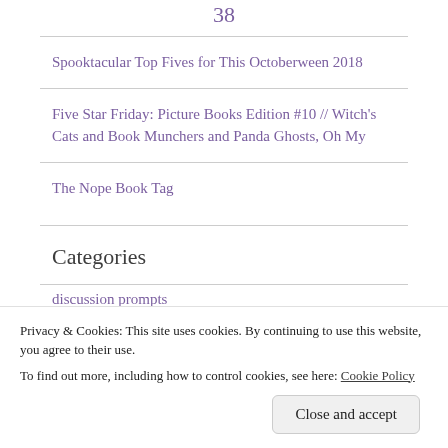38
Spooktacular Top Fives for This Octoberween 2018
Five Star Friday: Picture Books Edition #10 // Witch's Cats and Book Munchers and Panda Ghosts, Oh My
The Nope Book Tag
Categories
discussion prompts
Privacy & Cookies: This site uses cookies. By continuing to use this website, you agree to their use. To find out more, including how to control cookies, see here: Cookie Policy
Close and accept